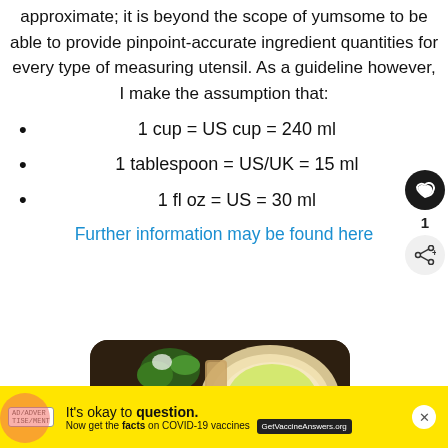approximate; it is beyond the scope of yumsome to be able to provide pinpoint-accurate ingredient quantities for every type of measuring utensil. As a guideline however, I make the assumption that:
1 cup = US cup = 240 ml
1 tablespoon = US/UK = 15 ml
1 fl oz = US = 30 ml
Further information may be found here
[Figure (photo): Food photo showing dishes with vegetables, soup, and herbs on a dark table]
WHAT'S NEXT → Spicy Tofu Scramble Wi... ANES
It's okay to question. Now get the facts on COVID-19 vaccines GetVaccineAnswers.org